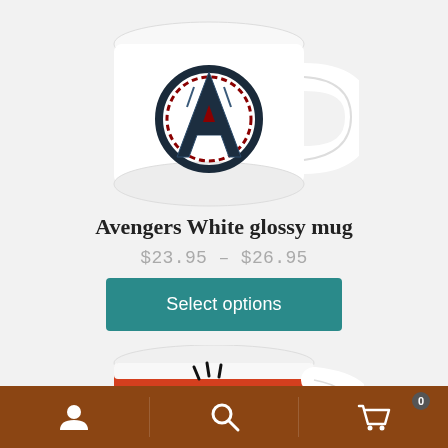[Figure (photo): White glossy coffee mug with Avengers logo design, viewed from front-left angle on light gray background]
Avengers White glossy mug
$23.95 – $26.95
Select options
[Figure (photo): Red ceramic coffee mug with Angry Birds character face design, partially cropped at bottom]
Navigation bar with user icon, search icon, and shopping cart icon with badge showing 0